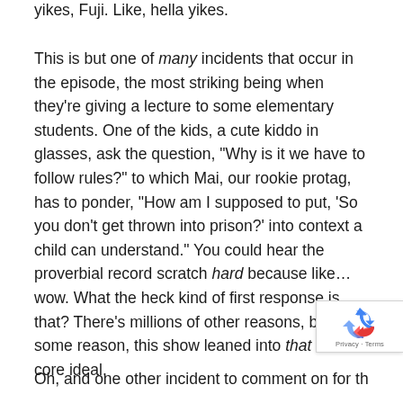yikes, Fuji. Like, hella yikes.
This is but one of many incidents that occur in the episode, the most striking being when they're giving a lecture to some elementary students. One of the kids, a cute kiddo in glasses, ask the question, “Why is it we have to follow rules?” to which Mai, our rookie protag, has to ponder, “How am I supposed to put, ‘So you don’t get thrown into prison?’ into context a child can understand.” You could hear the proverbial record scratch hard because like… wow. What the heck kind of first response is that? There’s millions of other reasons, but for some reason, this show leaned into that as its core ideal.
Oh, and one other incident to comment on for the